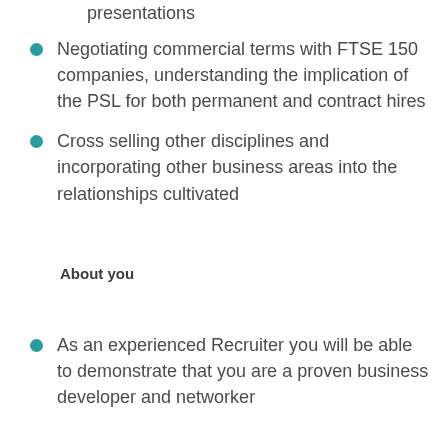presentations
Negotiating commercial terms with FTSE 150 companies, understanding the implication of the PSL for both permanent and contract hires
Cross selling other disciplines and incorporating other business areas into the relationships cultivated
About you
As an experienced Recruiter you will be able to demonstrate that you are a proven business developer and networker